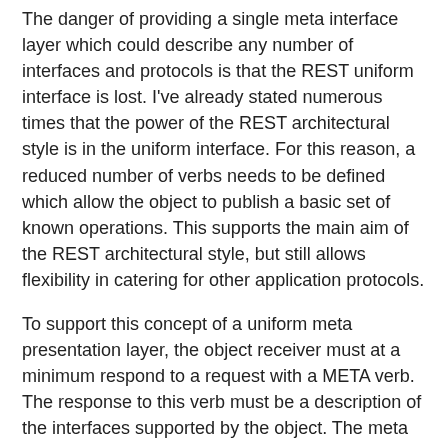The danger of providing a single meta interface layer which could describe any number of interfaces and protocols is that the REST uniform interface is lost. I've already stated numerous times that the power of the REST architectural style is in the uniform interface. For this reason, a reduced number of verbs needs to be defined which allow the object to publish a basic set of known operations. This supports the main aim of the REST architectural style, but still allows flexibility in catering for other application protocols.
To support this concept of a uniform meta presentation layer, the object receiver must at a minimum respond to a request with a META verb. The response to this verb must be a description of the interfaces supported by the object. The meta data returned may include a set of REST style verbs such as GET, HEAD and DELETE.
This implies that for many interactions the client must make a call to the server to retrieve the meta data and then a second call to perform an operation. Additional calls may also be required to retrieve and bind interfaces depending on the method described in the meta data. However, it will be ...